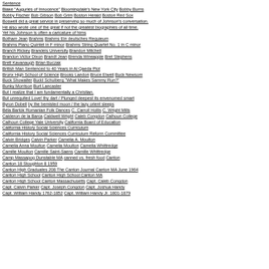Sentence Blake "Auguries of Innocence" Bloomingdale's New York City Bobby Burns Bobby Fischer Bob Gibson Bob Grim Boston Herald Boston Red Sox Boswell did a great service in preserving so much of Johnson's conversation. He also wrote one of the great if not the greatest biographies of all time. Yet his Johnson is often a caricature of hims Botham Jean Brahms Brahms Ein deutsches Requieum Brahms Piano Quintet in F minor Brahms String Quartet No. 1 in C minor Branch Rickey Brandeis University Brandon Mitchell Brandon Victor Dixon Brandt Jean Brenda Wineapple Bret Stephens Brett Kavanaugh Brian Buczak British Man Sentenced to 40 Years in Al Qaeda Plot Bronx High School of Science Brooks Landon Bruce Elwell Buck Newsom Buck Showalter Budd Schulberg "What Makes Sammy Run?" Bunky Morrison Burt Lancaster But I realize that I am fundamentally a Christian. But unrequited Love! thy dart / Plunged deepest its envenomed smart Byron Dobell by the bemisted moon / the lazy orient sleeps Béla Bartók Romanian Folk Dances C. Carroll Hollis C. Wright Mills Calderon de la Barca Caldwell Wright Caleb Congdon Calhoun College Calhoun College Yale University California Board of Education California History Social Sciences Curriculum California History Social Sciences Curriculum Reform Committee Calvin Bridges Calvin Parker Camelia A. Moulton Camelia Anna Moulton Camelia Moulton Camelia Whittredge Camille Moulton Camille Saint-Saens Camille Whittredge Camp Massapog Dunstable MA canned vs. fresh food Canton Canton 18 Stoughton 8 1959 Canton High Graduates 208 The Canton Journal Canton MA June 1964 Canton High School Canton High School Canton MA Canton High School Canton Massachusetts Capt. Caleb Congdon Capt. Calvin Parker Capt. Joseph Congdon Capt. Joshua Handy Capt. William Handy 1762-1852 Capt. William Handy Jr. 1801-1879